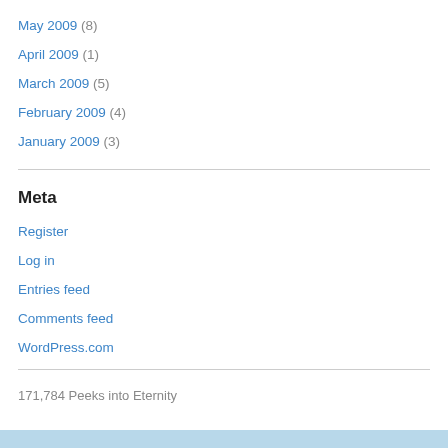May 2009 (8)
April 2009 (1)
March 2009 (5)
February 2009 (4)
January 2009 (3)
Meta
Register
Log in
Entries feed
Comments feed
WordPress.com
171,784 Peeks into Eternity